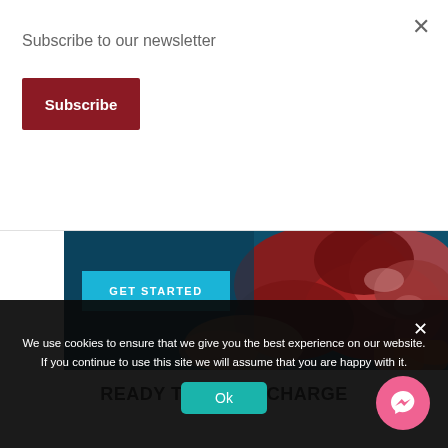Subscribe to our newsletter
Subscribe
×
[Figure (photo): Banner image with teal/dark blue background showing raw meat pieces (beef and organ meat) with carrots, and a GET STARTED cyan button overlay on the left side.]
GET STARTED
READY TO SUPERCHARGE
We use cookies to ensure that we give you the best experience on our website. If you continue to use this site we will assume that you are happy with it.
Ok
[Figure (illustration): Pink circular Messenger chat button with messenger icon (lightning bolt / chat icon)]